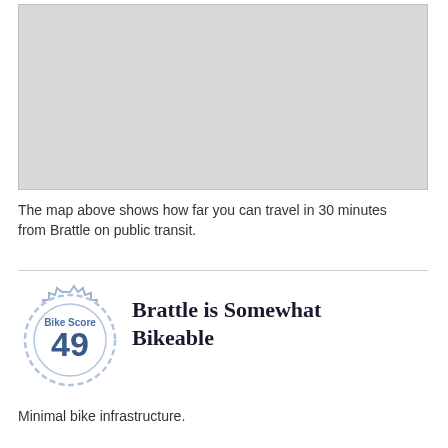[Figure (map): A light gray map placeholder showing transit reach from Brattle within 30 minutes]
The map above shows how far you can travel in 30 minutes from Brattle on public transit.
[Figure (infographic): Bike Score badge showing score of 49, gear/cog shape with 'Bike Score' label above the number]
Brattle is Somewhat Bikeable
Minimal bike infrastructure.